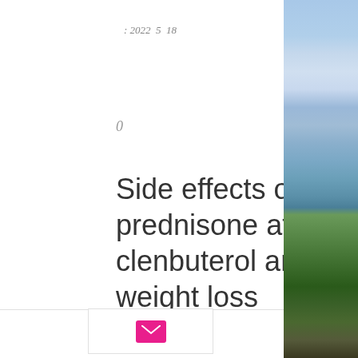: 2022 5 18
0   0   0
Side effects of stopping prednisone after 7 days, clenbuterol and t3 cycle for weight loss
Side effects of stopping prednisone after 7 days, clenbuterol and t3 cycle for weight loss - Buy steroids online
[Figure (other): Outdoor photo of sky with clouds and trees/pavilion structure on right side panel]